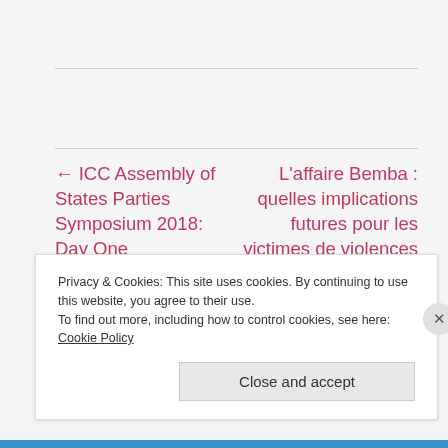← ICC Assembly of States Parties Symposium 2018: Day One
L'affaire Bemba : quelles implications futures pour les victimes de violences sexuelles basées sur le genre ? →
Privacy & Cookies: This site uses cookies. By continuing to use this website, you agree to their use. To find out more, including how to control cookies, see here: Cookie Policy
Close and accept